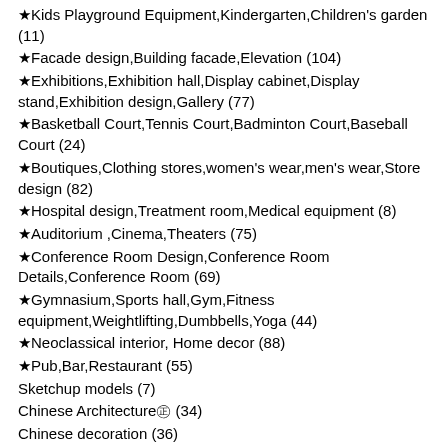★Kids Playground Equipment,Kindergarten,Children's garden (11)
★Facade design,Building facade,Elevation (104)
★Exhibitions,Exhibition hall,Display cabinet,Display stand,Exhibition design,Gallery (77)
★Basketball Court,Tennis Court,Badminton Court,Baseball Court (24)
★Boutiques,Clothing stores,women's wear,men's wear,Store design (82)
★Hospital design,Treatment room,Medical equipment (8)
★Auditorium ,Cinema,Theaters (75)
★Conference Room Design,Conference Room Details,Conference Room (69)
★Gymnasium,Sports hall,Gym,Fitness equipment,Weightlifting,Dumbbells,Yoga (44)
★Neoclassical interior, Home decor (88)
★Pub,Bar,Restaurant (55)
Sketchup models (7)
Chinese Architecture㊣ (34)
Chinese decoration (36)